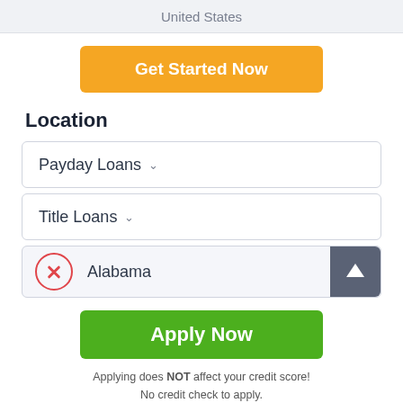United States
Get Started Now
Location
Payday Loans
Title Loans
Alabama
Apply Now
Applying does NOT affect your credit score! No credit check to apply.